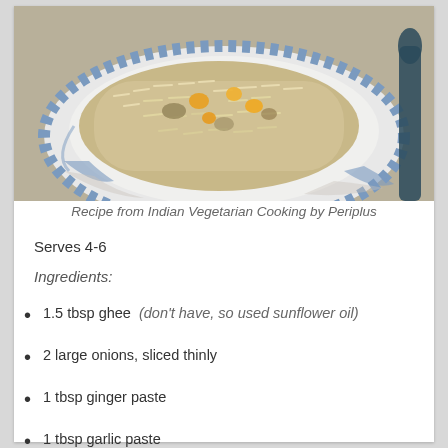[Figure (photo): A white plate with blue floral pattern containing a dish of rice mixed with vegetables including orange pieces, served on a similar patterned surface. A dark utensil visible on the right.]
Recipe from Indian Vegetarian Cooking by Periplus
Serves 4-6
Ingredients:
1.5 tbsp ghee  (don't have, so used sunflower oil)
2 large onions, sliced thinly
1 tbsp ginger paste
1 tbsp garlic paste
1 1/4 tsp salt